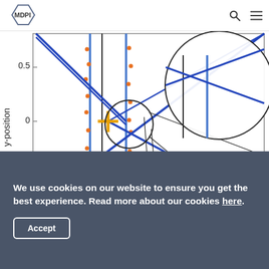MDPI
[Figure (continuous-plot): Scientific plot showing y-position on vertical axis (range -0.5 to 0.5+), with blue diagonal and vertical lines forming an X/triangle pattern, orange cross marker at origin, small orange and green dots scattered around, and two circular zoom insets highlighting the intersection region near y=0 and an upper region. The background is white with a light gray border box.]
We use cookies on our website to ensure you get the best experience. Read more about our cookies here.
Accept